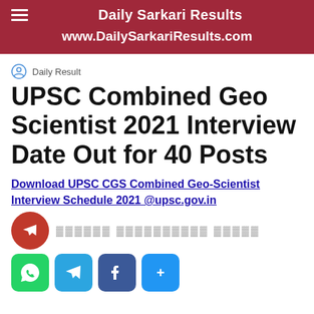Daily Sarkari Results | www.DailySarkariResults.com
Daily Result
UPSC Combined Geo Scientist 2021 Interview Date Out for 40 Posts
Download UPSC CGS Combined Geo-Scientist Interview Schedule 2021 @upsc.gov.in